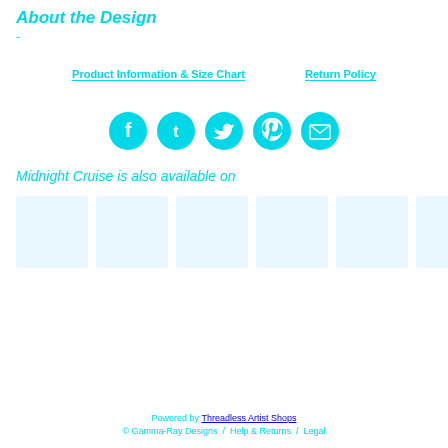About the Design
-
Product Information & Size Chart    Return Policy
[Figure (infographic): Five cyan social media icons (Facebook, Tumblr, Twitter, Pinterest, Email) arranged horizontally as circles with white symbols]
Midnight Cruise is also available on
[Figure (infographic): Six product thumbnail images shown as light blue/grey rectangles arranged horizontally]
Powered by Threadless Artist Shops / © Gamma-Ray Designs / Help & Returns / Legal